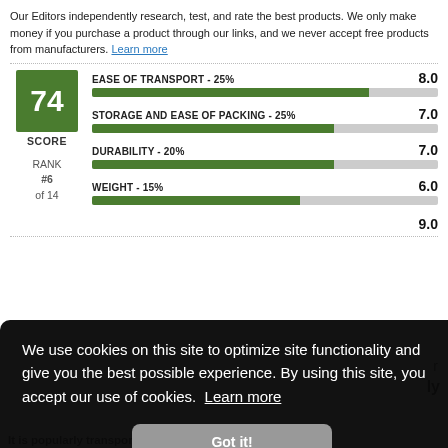Our Editors independently research, test, and rate the best products. We only make money if you purchase a product through our links, and we never accept free products from manufacturers. Learn more
[Figure (infographic): Score card showing 74 score, rank #6 of 14, with horizontal bar chart rows: EASE OF TRANSPORT 25% = 8.0, STORAGE AND EASE OF PACKING 25% = 7.0, DURABILITY 20% = 7.0, WEIGHT 15% = 6.0, and a partial row showing 9.0]
We use cookies on this site to optimize site functionality and give you the best possible experience. By using this site, you accept our use of cookies.  Learn more
Got it!
r
ly
It is popularly transported, but is actually better transported in the...